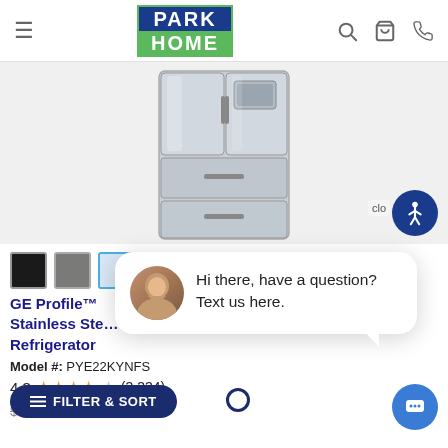Park Home - navigation header with logo, search, cart, phone icons
[Figure (photo): GE Profile stainless steel French door refrigerator product photo, top portion visible]
[Figure (other): Color swatch options: black, slate, stainless steel (selected), and dark slate]
GE Profile™ Stainless Steel Refrigerator
Model #: PYE22KYNFS
4.3 ★★★★☆ (3,334)
$3,699.00  Save $369.90
[Figure (screenshot): Chat popup overlay with avatar photo of woman and text: Hi there, have a question? Text us here.]